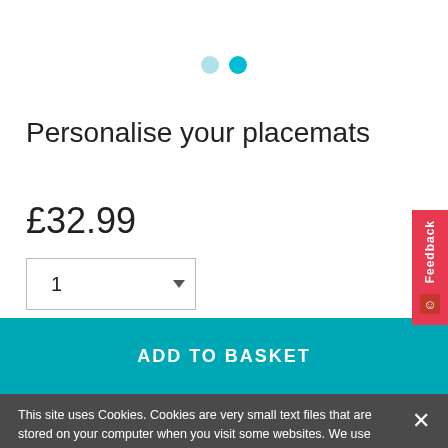[Figure (other): Two carousel indicator dots — one light cyan (inactive) and one bright cyan/teal (active)]
Personalise your placemats
£32.99
[Figure (other): Quantity dropdown selector showing '1' with a dropdown arrow]
[Figure (other): ADD TO BASKET button in teal/cyan color]
This site uses Cookies. Cookies are very small text files that are stored on your computer when you visit some websites. We use cookies to maximise your experience and make our website easier for you to use. Learn more...
Ref No.        PCPD000358
Copyright      Geraldine Rollands, Photographer
ImageDate      1998